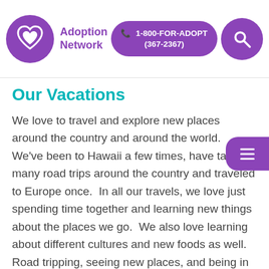Adoption Network | 1-800-FOR-ADOPT (367-2367)
Our Vacations
We love to travel and explore new places around the country and around the world.  We've been to Hawaii a few times, have taken many road trips around the country and traveled to Europe once.  In all our travels, we love just spending time together and learning new things about the places we go.  We also love learning about different cultures and new foods as well.  Road tripping, seeing new places, and being in the car together, especially with our dogs is one of our favorite things to do.  When we can be in nature together, we can truly appreciate all that God created.  We go up to the mountains at least once a year and would love to own a cabin one day, especially near a lake.  We can't wait to instill that sense of adventure in